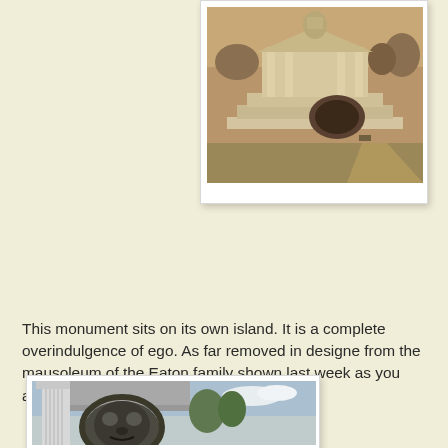[Figure (photo): Sepia-toned photograph of a monument/mausoleum on its own island, showing a classical stepped structure with columns, sculptures, and a large decorative wreath at the base.]
This monument sits on its own island. It is a complete overindulgence of ego. As far removed in designe from the mausoleum of the Eaton family shown last week as you are ever likely to get.
Steve Stavro was born in Macedonia and now lies under statue of Alexander The Great riding a rearing Bucephalus.
[Figure (photo): Color photograph showing a large bronze lion head sculpture mounted on a classical building with white fluted columns, blue sky in background with trees.]